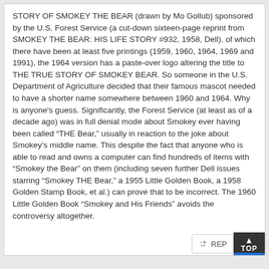STORY OF SMOKEY THE BEAR (drawn by Mo Gollub) sponsored by the U.S. Forest Service (a cut-down sixteen-page reprint from SMOKEY THE BEAR: HIS LIFE STORY #932, 1958, Dell), of which there have been at least five printings (1959, 1960, 1964, 1969 and 1991), the 1964 version has a paste-over logo altering the title to THE TRUE STORY OF SMOKEY BEAR. So someone in the U.S. Department of Agriculture decided that their famous mascot needed to have a shorter name somewhere between 1960 and 1964. Why is anyone's guess. Significantly, the Forest Service (at least as of a decade ago) was in full denial mode about Smokey ever having been called “THE Bear,” usually in reaction to the joke about Smokey's middle name. This despite the fact that anyone who is able to read and owns a computer can find hundreds of items with “Smokey the Bear” on them (including seven further Dell issues starring “Smokey THE Bear,” a 1955 Little Golden Book, a 1958 Golden Stamp Book, et al.) can prove that to be incorrect. The 1960 Little Golden Book “Smokey and His Friends” avoids the controversy altogether.